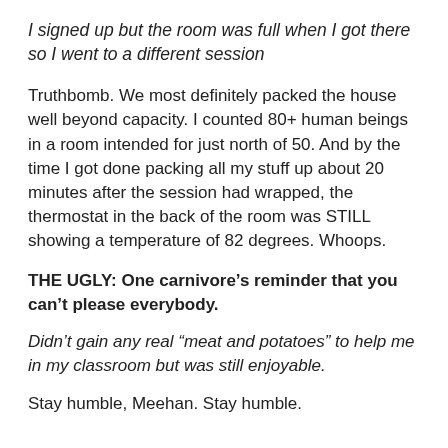I signed up but the room was full when I got there so I went to a different session
Truthbomb. We most definitely packed the house well beyond capacity. I counted 80+ human beings in a room intended for just north of 50. And by the time I got done packing all my stuff up about 20 minutes after the session had wrapped, the thermostat in the back of the room was STILL showing a temperature of 82 degrees. Whoops.
THE UGLY: One carnivore’s reminder that you can’t please everybody.
Didn’t gain any real “meat and potatoes” to help me in my classroom but was still enjoyable.
Stay humble, Meehan. Stay humble.